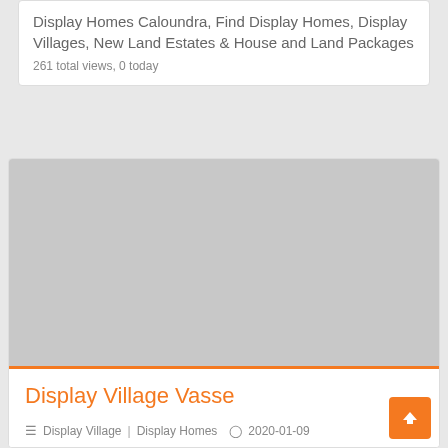Display Homes Caloundra, Find Display Homes, Display Villages, New Land Estates & House and Land Packages
261 total views, 0 today
[Figure (photo): Gray placeholder image for Display Village Vasse listing]
Display Village Vasse
Display Village  |  Display Homes  2020-01-09
Display Village Vasse – Display Village Kealy Display